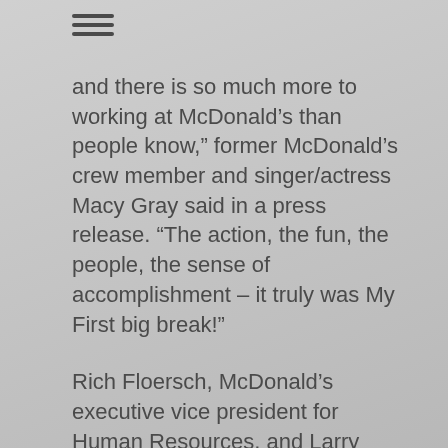[Figure (other): Hamburger menu icon (three horizontal lines)]
and there is so much more to working at McDonald's than people know," former McDonald's crew member and singer/actress Macy Gray said in a press release. "The action, the fun, the people, the sense of accomplishment – it truly was My First big break!"
Rich Floersch, McDonald's executive vice president for Human Resources, and Larry Light, McDonald's executive vice president and global chief marketing officer, premiered the commercial during McDonald's Global Human Resources Conference held in Chicago this week and attended by 200 McDonald's HR professionals from 48 countries.